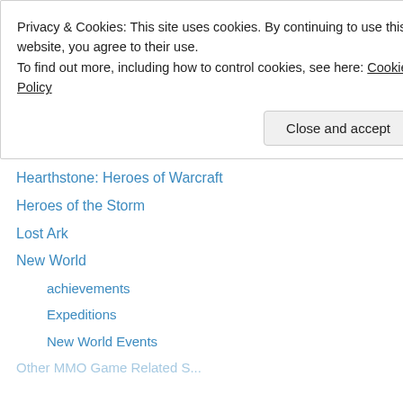Achievements
Journal
Reaper of Souls
Story
Videos
Guild Wars
Hearthstone: Heroes of Warcraft
Heroes of the Storm
Lost Ark
New World
achievements
Expeditions
New World Events
Privacy & Cookies: This site uses cookies. By continuing to use this website, you agree to their use. To find out more, including how to control cookies, see here: Cookie Policy
Close and accept